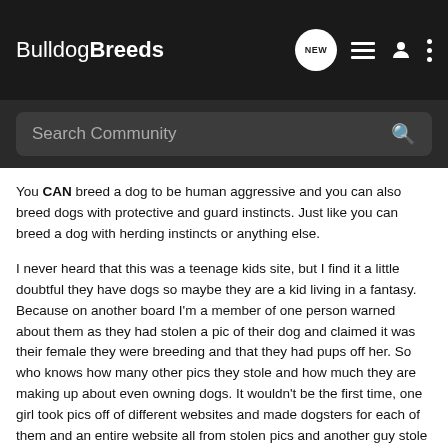BulldogBreeds — navigation header with logo, NEW chat bubble, list icon, person icon, and dots menu
Search Community
You CAN breed a dog to be human aggressive and you can also breed dogs with protective and guard instincts. Just like you can breed a dog with herding instincts or anything else.
I never heard that this was a teenage kids site, but I find it a little doubtful they have dogs so maybe they are a kid living in a fantasy. Because on another board I'm a member of one person warned about them as they had stolen a pic of their dog and claimed it was their female they were breeding and that they had pups off her. So who knows how many other pics they stole and how much they are making up about even owning dogs. It wouldn't be the first time, one girl took pics off of different websites and made dogsters for each of them and an entire website all from stolen pics and another guy stole pics of peoples dogs I knew and posted them on a message board as